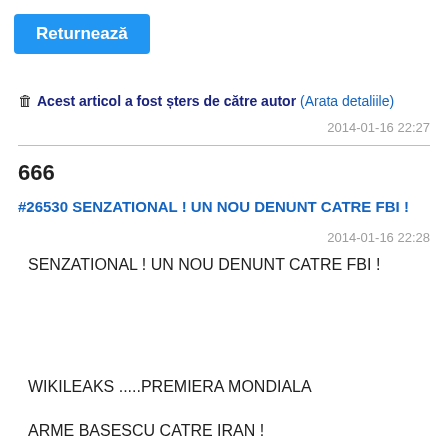Returnează
🗑 Acest articol a fost șters de către autor (Arata detaliile)
2014-01-16 22:27
666
#26530 SENZATIONAL ! UN NOU DENUNT CATRE FBI !
2014-01-16 22:28
SENZATIONAL ! UN NOU DENUNT CATRE FBI !
WIKILEAKS .....PREMIERA MONDIALA
ARME BASESCU CATRE IRAN !